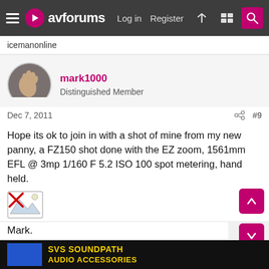avforums — Log in  Register
icemanonline
mark1000
Distinguished Member
Dec 7, 2011   #9
Hope its ok to join in with a shot of mine from my new panny, a FZ150 shot done with the EZ zoom, 1561mm EFL @ 3mp 1/160 F 5.2 ISO 100 spot metering, hand held.
[Figure (illustration): Broken image placeholder icon (small image with red X)]
Mark.
[Figure (screenshot): Advertisement banner: SVS Soundpath Audio Accessories on black background with yellow text]